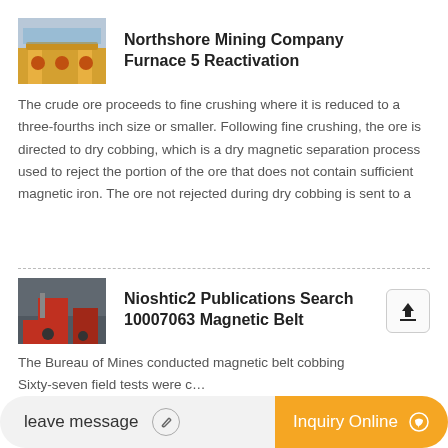[Figure (photo): Yellow industrial crane/machinery at a mining facility]
Northshore Mining Company Furnace 5 Reactivation
The crude ore proceeds to fine crushing where it is reduced to a three-fourths inch size or smaller. Following fine crushing, the ore is directed to dry cobbing, which is a dry magnetic separation process used to reject the portion of the ore that does not contain sufficient magnetic iron. The ore not rejected during dry cobbing is sent to a
[Figure (photo): Red industrial mining equipment/trucks at a site]
Nioshtic2 Publications Search 10007063 Magnetic Belt
The Bureau of Mines conducted magnetic belt cobbing
Sixty-seven field tests were c…